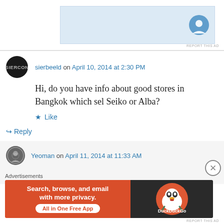[Figure (other): Top advertisement banner area with light blue background and icon]
REPORT THIS AD
sierbeeld on April 10, 2014 at 2:30 PM
Hi, do you have info about good stores in Bangkok which sel Seiko or Alba?
★ Like
↳ Reply
Yeoman on April 11, 2014 at 11:33 AM
Sorry, I'm not familiar with the watch shops
Advertisements
[Figure (other): DuckDuckGo advertisement banner: 'Search, browse, and email with more privacy. All in One Free App']
REPORT THIS AD